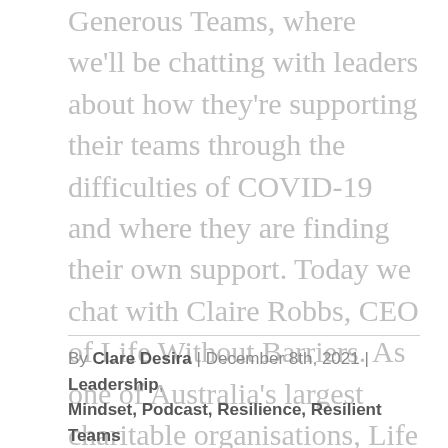Generous Teams, where we'll be chatting with leaders about how they're supporting their teams through the difficulties of COVID-19 and where they are finding their own support. Today we chat with Claire Robbs, CEO of Life Without Barriers. As one of Australia's largest charitable organisations, Life Without Barriers supports around 25,000 people each year in the areas of disability support, aged care, mental health, drug and alcohol services, services for refugees and people seeking asylum, and support for some of Australia's most vulnerable children, young people and families in the child protection system in out [...]
By Clare Desira | December 8th, 2021 | Leadership, Mindset, Podcast, Resilience, Resilient Teams